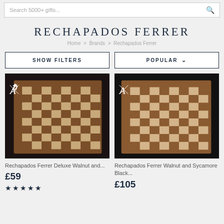Search 5000+ gifts...
RECHAPADOS FERRER
Home > Brands > Rechapados Ferrer
SHOW FILTERS | POPULAR
[Figure (photo): Rechapados Ferrer chess board - Deluxe Walnut and Sycamore, viewed from above, with dark wood frame and alternating walnut/cream squares]
Rechapados Ferrer Deluxe Walnut and...
£59
★★★★★
[Figure (photo): Rechapados Ferrer Walnut and Sycamore Black chess board, viewed at angle, dark wood frame with alternating walnut/cream squares]
Rechapados Ferrer Walnut and Sycamore Black...
£105